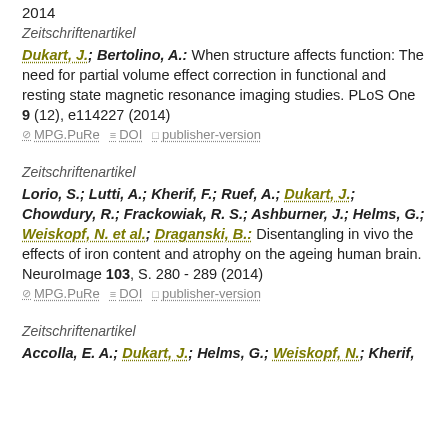2014
Zeitschriftenartikel
Dukart, J.; Bertolino, A.: When structure affects function: The need for partial volume effect correction in functional and resting state magnetic resonance imaging studies. PLoS One 9 (12), e114227 (2014)
⊘ MPG.PuRe  ≡ DOI  □ publisher-version
Zeitschriftenartikel
Lorio, S.; Lutti, A.; Kherif, F.; Ruef, A.; Dukart, J.; Chowdury, R.; Frackowiak, R. S.; Ashburner, J.; Helms, G.; Weiskopf, N. et al.; Draganski, B.: Disentangling in vivo the effects of iron content and atrophy on the ageing human brain. NeuroImage 103, S. 280 - 289 (2014)
⊘ MPG.PuRe  ≡ DOI  □ publisher-version
Zeitschriftenartikel
Accolla, E. A.; Dukart, J.; Helms, G.; Weiskopf, N.; Kherif,